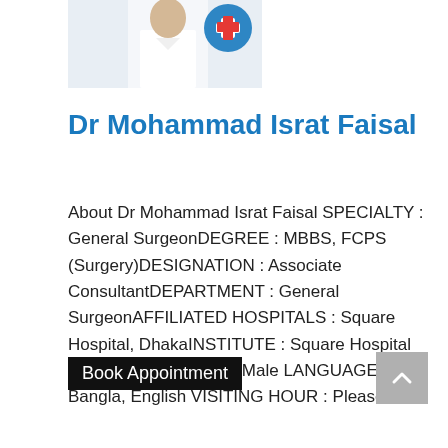[Figure (illustration): Partial image of a doctor in white coat with a medical cross/logo icon, cropped at top of the page]
Dr Mohammad Israt Faisal
About Dr Mohammad Israt Faisal SPECIALTY : General SurgeonDEGREE : MBBS, FCPS (Surgery)DESIGNATION : Associate ConsultantDEPARTMENT : General SurgeonAFFILIATED HOSPITALS : Square Hospital, DhakaINSTITUTE : Square Hospital Ltd, Dhaka GENDER : Male LANGUAGE : Bangla, English VISITING HOUR : Please …
Book Appointment